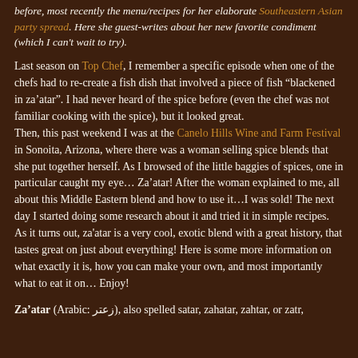before, most recently the menu/recipes for her elaborate Southeastern Asian party spread. Here she guest-writes about her new favorite condiment (which I can't wait to try).
Last season on Top Chef, I remember a specific episode when one of the chefs had to re-create a fish dish that involved a piece of fish "blackened in za'atar". I had never heard of the spice before (even the chef was not familiar cooking with the spice), but it looked great.
Then, this past weekend I was at the Canelo Hills Wine and Farm Festival in Sonoita, Arizona, where there was a woman selling spice blends that she put together herself. As I browsed of the little baggies of spices, one in particular caught my eye… Za'atar! After the woman explained to me, all about this Middle Eastern blend and how to use it…I was sold! The next day I started doing some research about it and tried it in simple recipes.
As it turns out, za'atar is a very cool, exotic blend with a great history, that tastes great on just about everything! Here is some more information on what exactly it is, how you can make your own, and most importantly what to eat it on… Enjoy!
Za'atar (Arabic: زعتر), also spelled satar, zahatar, zahtar, or zatr,